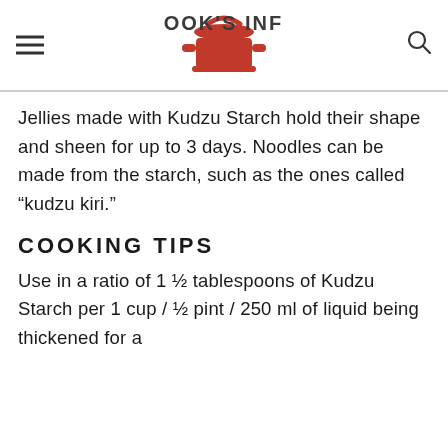COOK'S INFO
Jellies made with Kudzu Starch hold their shape and sheen for up to 3 days. Noodles can be made from the starch, such as the ones called “kudzu kiri.”
COOKING TIPS
Use in a ratio of 1 ½ tablespoons of Kudzu Starch per 1 cup / ½ pint / 250 ml of liquid being thickened for a